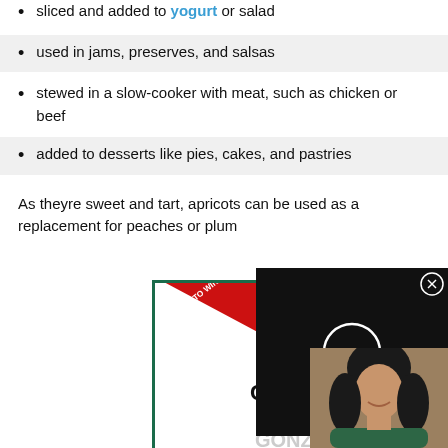sliced and added to yogurt or salad
used in jams, preserves, and salsas
stewed in a slow-cooker with meat, such as chicken or beef
added to desserts like pies, cakes, and pastries
As theyre sweet and tart, apricots can be used as a replacement for peaches or plum...
[Figure (other): Advertisement showing a book auction - BID TO WIN! ZOOM w/ BEST-SELLING AUTHOR CHRISTINA DIAZ GONZALEZ, with a video overlay showing a loading spinner and a close button]